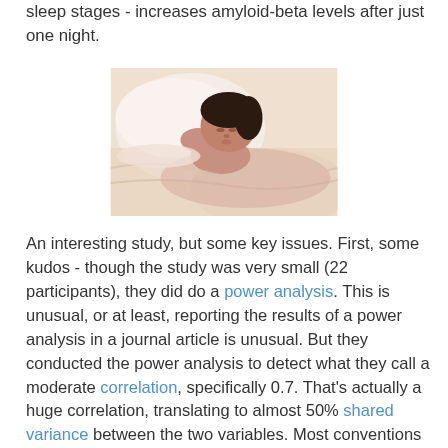sleep stages - increases amyloid-beta levels after just one night.
[Figure (photo): A woman sleeping peacefully on a white pillow in bed, photographed from the side.]
An interesting study, but some key issues. First, some kudos - though the study was very small (22 participants), they did do a power analysis. This is unusual, or at least, reporting the results of a power analysis in a journal article is unusual. But they conducted the power analysis to detect what they call a moderate correlation, specifically 0.7. That's actually a huge correlation, translating to almost 50% shared variance between the two variables. Most conventions call a moderate correlation to be between 0.3 and 0.5. The results